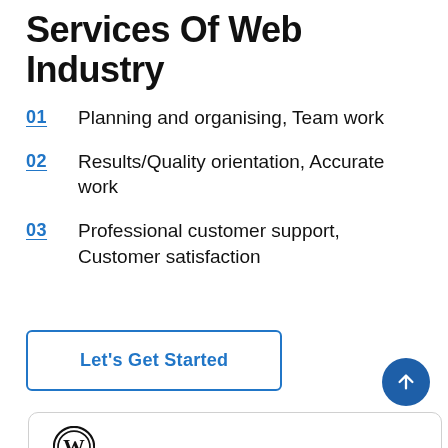Services Of Web Industry
01  Planning and organising, Team work
02  Results/Quality orientation, Accurate work
03  Professional customer support, Customer satisfaction
Let's Get Started
[Figure (illustration): WordPress logo (circle with W) at the bottom of the page inside a card]